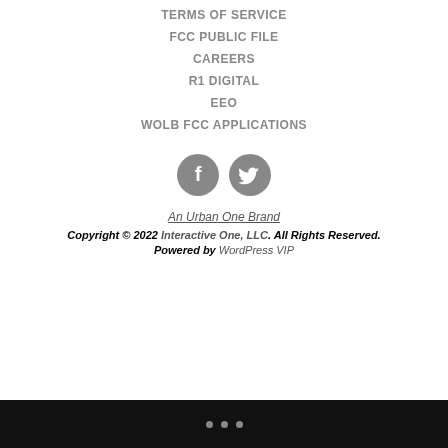TERMS OF SERVICE
FCC PUBLIC FILE
CAREERS
R1 DIGITAL
EEO
WOLB FCC APPLICATIONS
[Figure (illustration): Two circular social media buttons: Facebook (f) and Twitter (bird icon), both in gray]
An Urban One Brand
Copyright © 2022 Interactive One, LLC. All Rights Reserved.
Powered by WordPress VIP
• • •